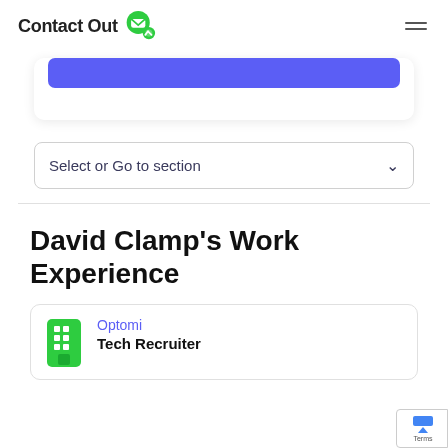ContactOut
[Figure (screenshot): Purple button partially visible at top of a card]
Select or Go to section
David Clamp's Work Experience
Optomi
Tech Recruiter